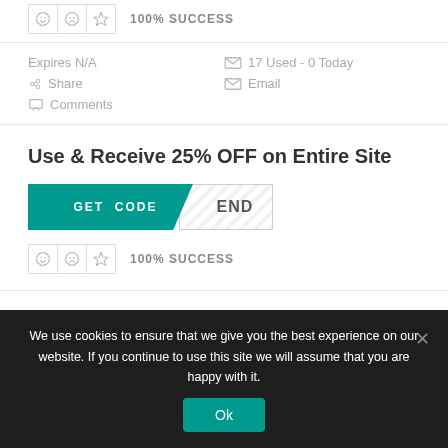[Figure (other): Rating icons row with smiley, frowny, star icons and 100% SUCCESS text]
Expires N/A
17 Used - 0 Today
Share
Email
Comments
Use & Receive 25% OFF on Entire Site
[Figure (other): GET CODE button with teal background and diagonal cut, with striped code reveal area showing END]
[Figure (other): Rating icons row with smiley, frowny, star icons and 100% SUCCESS text]
We use cookies to ensure that we give you the best experience on our website. If you continue to use this site we will assume that you are happy with it.
Ok